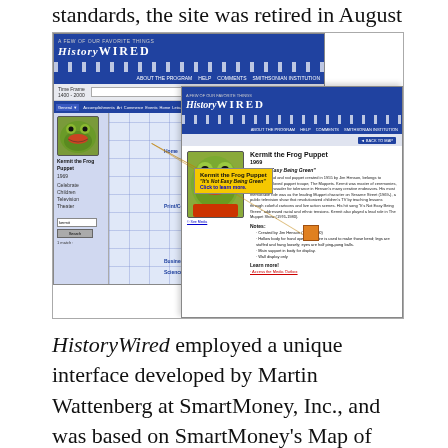standards, the site was retired in August 2016.
[Figure (screenshot): Screenshot of HistoryWired website showing a grid-based map interface with categories like Home, Print/Communications, Business, Photography, Science/Medicine, and a tooltip highlighting 'Kermit the Frog Puppet' with the quote "It's Not Easy Being Green". An overlapping second screenshot shows the detail page for the Kermit the Frog Puppet item from 1969 on the HistoryWired site, with text about the Muppets and Jim Henson, notes, and a 'Learn more' section.]
HistoryWired employed a unique interface developed by Martin Wattenberg at SmartMoney, Inc., and was based on SmartMoney's Map of the Market. The